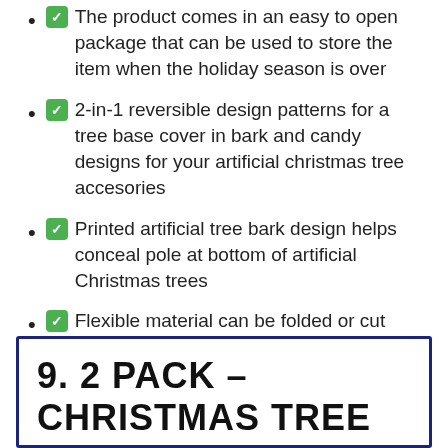✅ The product comes in an easy to open package that can be used to store the item when the holiday season is over
✅ 2-in-1 reversible design patterns for a tree base cover in bark and candy designs for your artificial christmas tree accesories
✅ Printed artificial tree bark design helps conceal pole at bottom of artificial Christmas trees
✅ Flexible material can be folded or cut with scissors to fit most Christmas tree poles
9. 2 PACK – CHRISTMAS TREE